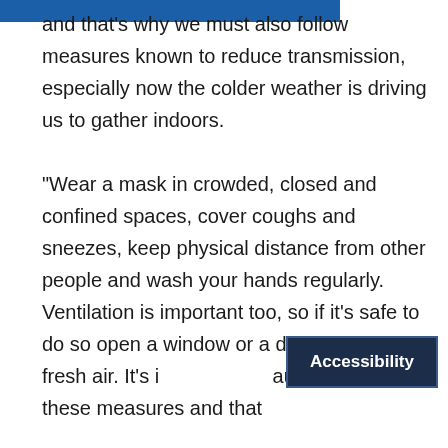and that's why we must also follow measures known to reduce transmission, especially now the colder weather is driving us to gather indoors.

“Wear a mask in crowded, closed and confined spaces, cover coughs and sneezes, keep physical distance from other people and wash your hands regularly. Ventilation is important too, so if it’s safe to do so open a window or a door to let in fresh air. It’s i[mportant] authorities take these measures and that